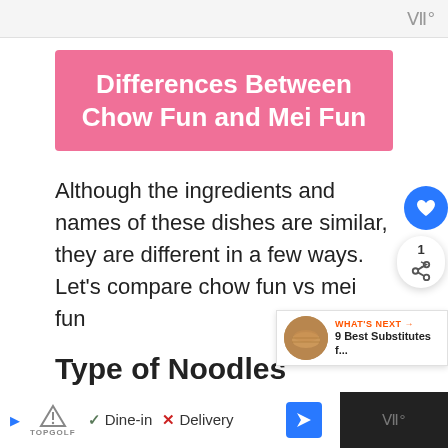Differences Between Chow Fun and Mei Fun
Although the ingredients and names of these dishes are similar, they are different in a few ways. Let’s compare chow fun vs mei fun
Type of Noodles
Dine-in  Delivery